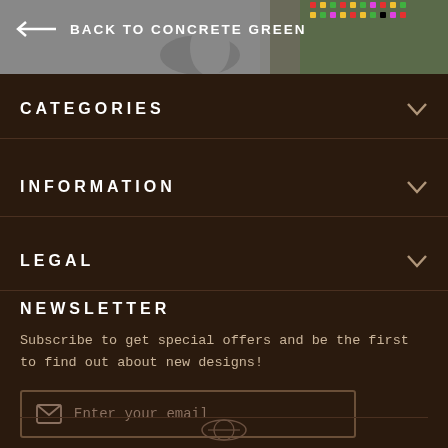[Figure (photo): Header banner with colorful beaded/woven pattern visible in upper right, gray background with navigation button overlay]
← BACK TO CONCRETE GREEN
CATEGORIES
INFORMATION
LEGAL
NEWSLETTER
Subscribe to get special offers and be the first to find out about new designs!
Enter your email